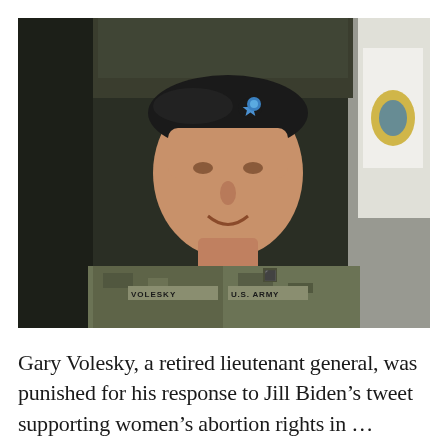[Figure (photo): Gary Volesky, a man in U.S. Army camouflage uniform with name tape 'VOLESKY' and 'U.S. ARMY', wearing a black beret with a blue star badge, smiling, photographed outdoors with trees and a military flag in the background.]
Gary Volesky, a retired lieutenant general, was punished for his response to Jill Biden’s tweet supporting women’s abortion rights in …